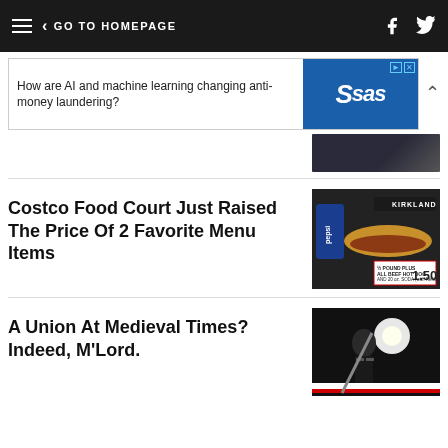< GO TO HOMEPAGE
[Figure (screenshot): Advertisement banner: 'How are AI and machine learning changing anti-money laundering?' with SAS logo]
[Figure (photo): Partial photo of person in suit]
Costco Food Court Just Raised The Price Of 2 Favorite Menu Items
[Figure (photo): Kirkland all beef hot dog and Pepsi soda for $1.50 at Costco food court]
A Union At Medieval Times? Indeed, M'Lord.
[Figure (photo): Medieval Times performer in armor with bright light]